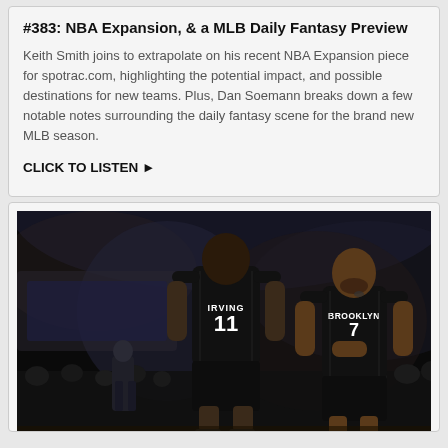#383: NBA Expansion, & a MLB Daily Fantasy Preview
Keith Smith joins to extrapolate on his recent NBA Expansion piece for spotrac.com, highlighting the potential impact, and possible destinations for new teams. Plus, Dan Soemann breaks down a few notable notes surrounding the daily fantasy scene for the brand new MLB season.
CLICK TO LISTEN ▶
[Figure (photo): Two Brooklyn Nets basketball players on a dark court. Player #11 (IRVING) with back facing camera, player #7 (Brooklyn jersey) facing toward camera, both in black Nets uniforms.]